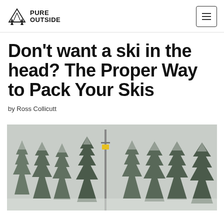PURE OUTSIDE
Don't want a ski in the head? The Proper Way to Pack Your Skis
by Ross Collicutt
[Figure (photo): Snow-covered evergreen trees in a winter ski resort scene, with a lift pole visible in the background]